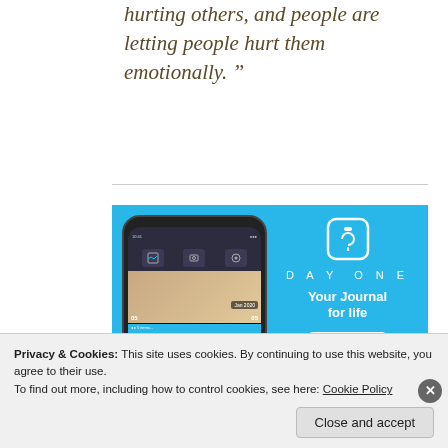hurting others, and people are letting people hurt them emotionally.”
[Figure (screenshot): DayOne app advertisement on a blue background showing a smartphone with journal/photo grid UI and the DayOne logo with tagline 'Your Journal for life' and a 'Get the app' button]
Privacy & Cookies: This site uses cookies. By continuing to use this website, you agree to their use.
To find out more, including how to control cookies, see here: Cookie Policy